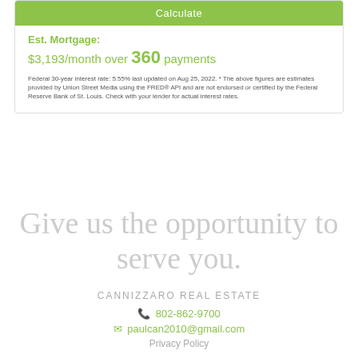Calculate
Est. Mortgage:
$3,193/month over 360 payments
Federal 30-year interest rate: 5.55% last updated on Aug 25, 2022. * The above figures are estimates provided by Union Street Media using the FRED® API and are not endorsed or certified by the Federal Reserve Bank of St. Louis. Check with your lender for actual interest rates.
Give us the opportunity to serve you.
CANNIZZARO REAL ESTATE
802-862-9700
paulcan2010@gmail.com
Privacy Policy